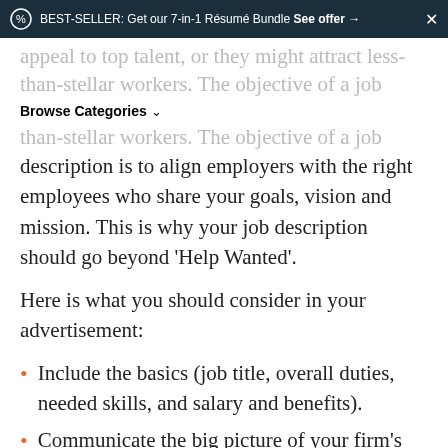BEST-SELLER: Get our 7-in-1 Résumé Bundle See offer →  ×
Browse Categories ∨
appeal to top talent, or they might attract less-than-stellar workers. The objective of a job description is to align employers with the right employees who share your goals, vision and mission. This is why your job description should go beyond 'Help Wanted'.
Here is what you should consider in your advertisement:
Include the basics (job title, overall duties, needed skills, and salary and benefits).
Communicate the big picture of your firm's direction and let potential employees know how they fit into your plans.
Establish a reputation for your...